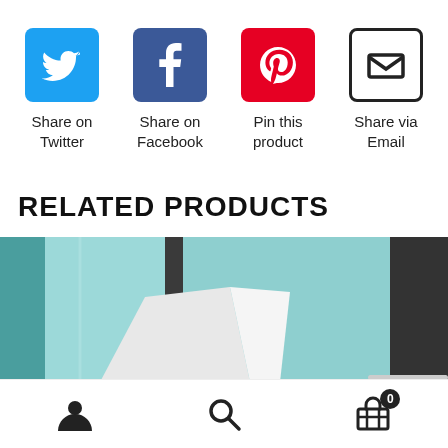[Figure (infographic): Four social sharing buttons: Twitter (blue bird icon), Facebook (blue f icon), Pinterest (red P icon), Email (black envelope icon) with labels below each]
Share on Twitter
Share on Facebook
Pin this product
Share via Email
RELATED PRODUCTS
[Figure (photo): Photo showing a glass door or window with white paper/plastic bag visible, teal colored background]
[Figure (infographic): Bottom navigation bar with user icon, search icon, and shopping cart icon with badge showing 0]